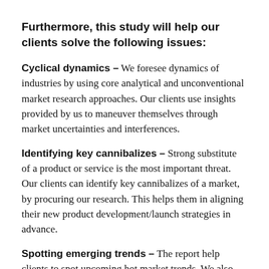Furthermore, this study will help our clients solve the following issues:
Cyclical dynamics – We foresee dynamics of industries by using core analytical and unconventional market research approaches. Our clients use insights provided by us to maneuver themselves through market uncertainties and interferences.
Identifying key cannibalizes – Strong substitute of a product or service is the most important threat. Our clients can identify key cannibalizes of a market, by procuring our research. This helps them in aligning their new product development/launch strategies in advance.
Spotting emerging trends – The report help clients to spot upcoming hot market trends. We also track possible impact and disruptions which a market would